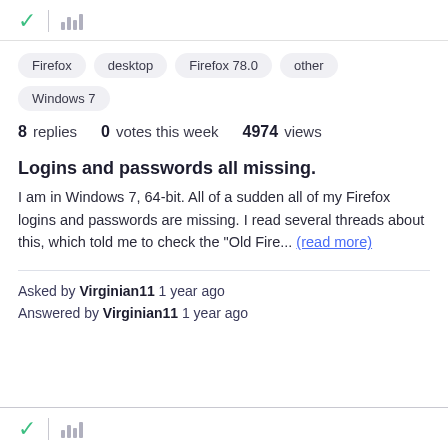[Figure (other): Green checkmark icon and bar/library icon in top bar]
Firefox
desktop
Firefox 78.0
other
Windows 7
8 replies   0 votes this week   4974 views
Logins and passwords all missing.
I am in Windows 7, 64-bit. All of a sudden all of my Firefox logins and passwords are missing. I read several threads about this, which told me to check the "Old Fire... (read more)
Asked by Virginian11 1 year ago
Answered by Virginian11 1 year ago
[Figure (other): Green checkmark icon and bar/library icon in bottom bar]